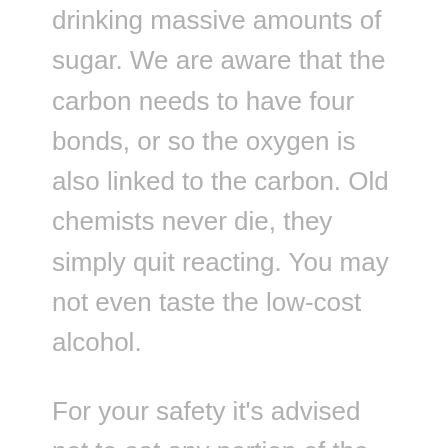drinking massive amounts of sugar. We are aware that the carbon needs to have four bonds, or so the oxygen is also linked to the carbon. Old chemists never die, they simply quit reacting. You may not even taste the low-cost alcohol.
For your safety it's advised not to eat any portion of the molecular model you've made at any phase of the experiment (unhygienic handling of foods may lead to contamination). A central element of the prior activity has become the use of droplet-based microfluidic tools to execute a range of complex chemical and